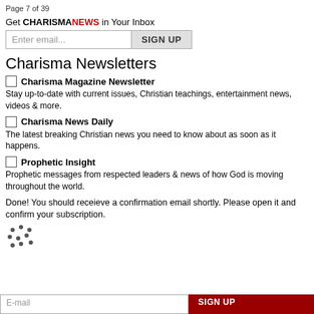Page 7 of 39
Get CHARISMANEWS in Your Inbox
Charisma Newsletters
Charisma Magazine Newsletter — Stay up-to-date with current issues, Christian teachings, entertainment news, videos & more.
Charisma News Daily — The latest breaking Christian news you need to know about as soon as it happens.
Prophetic Insight — Prophetic messages from respected leaders & news of how God is moving throughout the world.
Done! You should receieve a confirmation email shortly. Please open it and confirm your subscription.